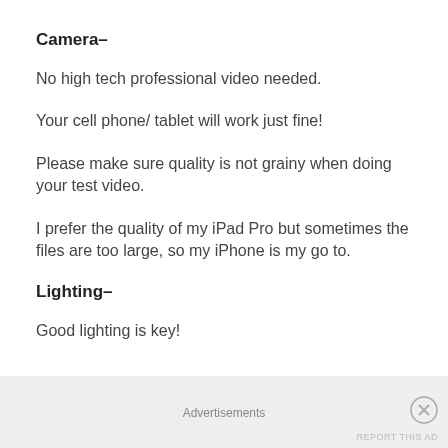Camera–
No high tech professional video needed.
Your cell phone/ tablet will work just fine!
Please make sure quality is not grainy when doing your test video.
I prefer the quality of my iPad Pro but sometimes the files are too large, so my iPhone is my go to.
Lighting–
Good lighting is key!
Advertisements